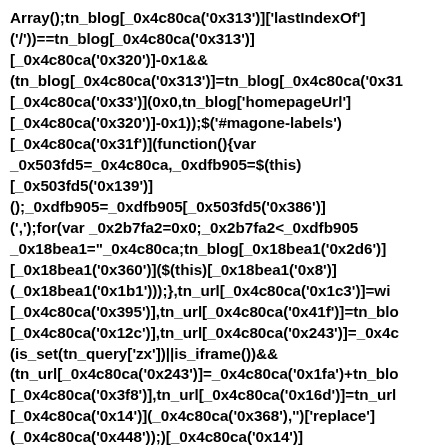Array();tn_blog[_0x4c80ca('0x313')]['lastIndexOf']('/'')==tn_blog[_0x4c80ca('0x313')][_0x4c80ca('0x320')]-0x1&&(tn_blog[_0x4c80ca('0x313')]=tn_blog[_0x4c80ca('0x313')][_0x4c80ca('0x33')](0x0,tn_blog['homepageUrl'][_0x4c80ca('0x320')]-0x1));$('#magone-labels')[_0x4c80ca('0x31f')](function(){var _0x503fd5=_0x4c80ca,_0xdfb905=$(this)[_0x503fd5('0x139')]();_0xdfb905=_0xdfb905[_0x503fd5('0x386')](',');for(var _0x2b7fa2=0x0;_0x2b7fa2<_0xdfb905 _0x18bea1="_0x4c80ca;tn_blog[_0x18bea1('0x2d6')][_0x18bea1('0x360')]($(this)[_0x18bea1('0x8')](_0x18bea1('0x1b1')));},tn_url[_0x4c80ca('0x1c3')]=wi[_0x4c80ca('0x395')],tn_url[_0x4c80ca('0x41f')]=tn_blo[_0x4c80ca('0x12c')],tn_url[_0x4c80ca('0x243')]=_0x4c(is_set(tn_query['zx'])||is_iframe())&&(tn_url[_0x4c80ca('0x243')]=_0x4c80ca('0x1fa')+tn_blo[_0x4c80ca('0x3f8')],tn_url[_0x4c80ca('0x16d')]=tn_url[_0x4c80ca('0x14')](_0x4c80ca('0x368'),"")['replace'](_0x4c80ca('0x448'));)[_0x4c80ca('0x14')]